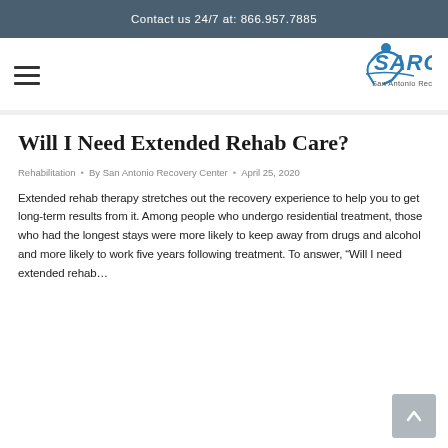Contact us 24/7 at: 866.957.7885
[Figure (logo): SARC San Antonio Recovery Center logo with blue figure icon and stylized text]
Will I Need Extended Rehab Care?
Rehabilitation • By San Antonio Recovery Center • April 25, 2020
Extended rehab therapy stretches out the recovery experience to help you to get long-term results from it. Among people who undergo residential treatment, those who had the longest stays were more likely to keep away from drugs and alcohol and more likely to work five years following treatment. To answer, “Will I need extended rehab…